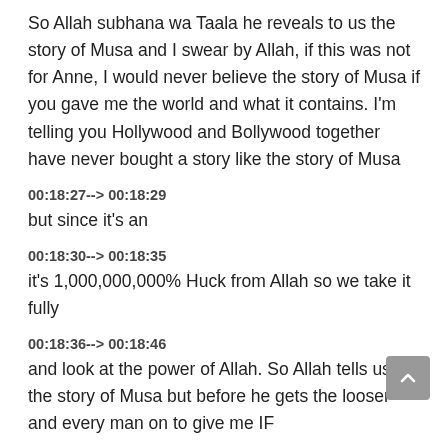So Allah subhana wa Taala he reveals to us the story of Musa and I swear by Allah, if this was not for Anne, I would never believe the story of Musa if you gave me the world and what it contains. I'm telling you Hollywood and Bollywood together have never bought a story like the story of Musa
00:18:27--> 00:18:29
but since it's an
00:18:30--> 00:18:35
it's 1,000,000,000% Huck from Allah so we take it fully
00:18:36--> 00:18:46
and look at the power of Allah. So Allah tells us the story of Musa but before he gets the looser and every man on to give me IF